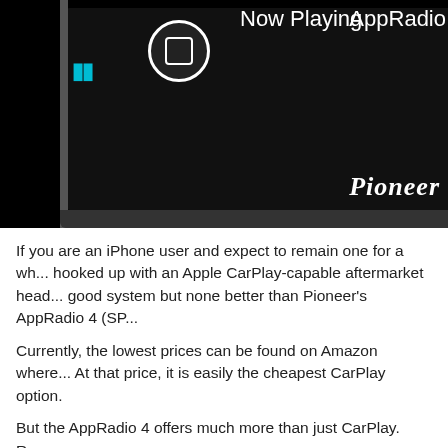[Figure (photo): Pioneer AppRadio car head unit screen showing 'Now Playing' and 'AppRadio' text on dark display with Pioneer logo, home button, and skip button]
If you are an iPhone user and expect to remain one for a wh... hooked up with an Apple CarPlay-capable aftermarket head... good system but none better than Pioneer's AppRadio 4 (SP...
Currently, the lowest prices can be found on Amazon where... At that price, it is easily the cheapest CarPlay option.
But the AppRadio 4 offers much more than just CarPlay. Re...
To check out the latest prices from Amazon, click here.
By AppRadioWorld at 12:25 PM.    1 comments